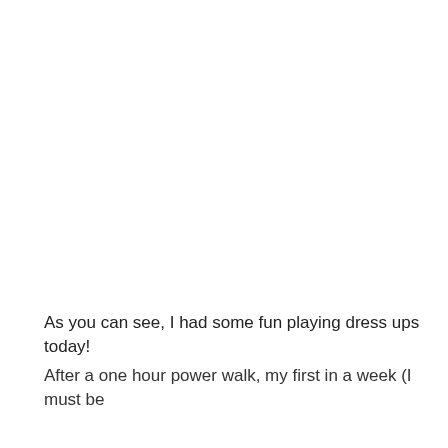As you can see, I had some fun playing dress ups today!
After a one hour power walk, my first in a week (I must be